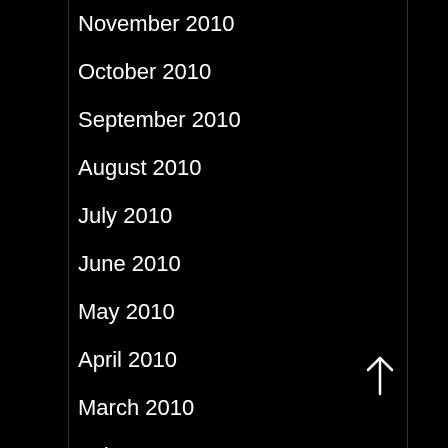November 2010
October 2010
September 2010
August 2010
July 2010
June 2010
May 2010
April 2010
March 2010
February 2010
January 2010
December 2009